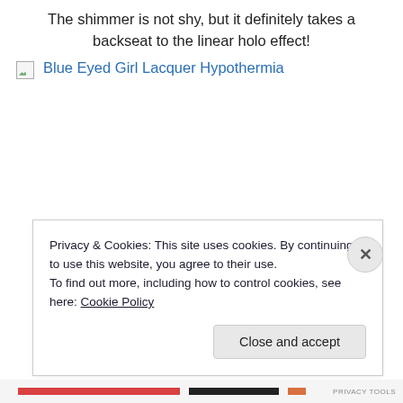The shimmer is not shy, but it definitely takes a backseat to the linear holo effect!
[Figure (photo): Broken image placeholder with link text 'Blue Eyed Girl Lacquer Hypothermia' in blue]
Privacy & Cookies: This site uses cookies. By continuing to use this website, you agree to their use. To find out more, including how to control cookies, see here: Cookie Policy
Close and accept